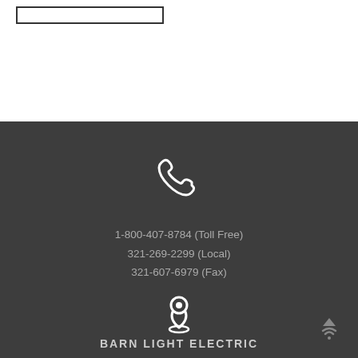[Figure (other): Search input box outline at top of page]
[Figure (other): White phone handset icon on dark grey background]
1-800-407-8784 (Toll Free)
321-269-2299 (Local)
321-607-6979 (Fax)
[Figure (other): White location pin/map marker icon on dark grey background]
BARN LIGHT ELECTRIC
[Figure (other): Scroll to top arrow icon at bottom right]